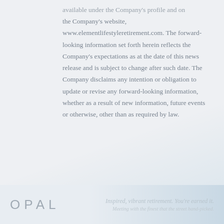...available under the Company's profile and on the Company's website, www.elementlifestyleretirement.com. The forward-looking information set forth herein reflects the Company's expectations as at the date of this news release and is subject to change after such date. The Company disclaims any intention or obligation to update or revise any forward-looking information, whether as a result of new information, future events or otherwise, other than as required by law.
OPAL | Inspired, vibrant retirement. You're earned it.